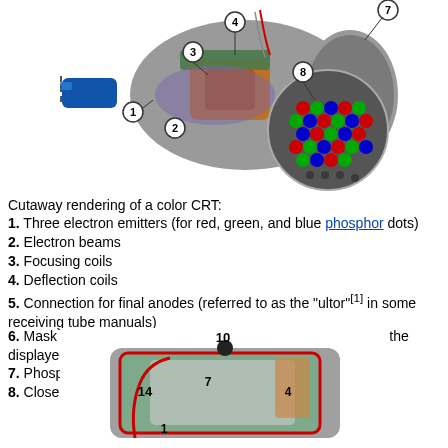[Figure (illustration): Cutaway rendering of a color CRT with numbered callouts (1-8) indicating various components including electron emitters, electron beams, focusing coils, deflection coils, connection for final anodes, mask, phosphor layer, and a close-up of phosphor-coated inner side of the screen with colored dots.]
Cutaway rendering of a color CRT:
1. Three electron emitters (for red, green, and blue phosphor dots)
2. Electron beams
3. Focusing coils
4. Deflection coils
5. Connection for final anodes (referred to as the "ultor"[1] in some receiving tube manuals)
6. Mask for separating beams for red, green, and blue part of the displayed image
7. Phosphor layer (screen)with red, green, and blue zones
8. Close-up of the phosphor-coated inner side of the screen
[Figure (illustration): Partial cutaway rendering of a color CRT showing numbered components including labels 10, 14, 7, 4, and 1.]